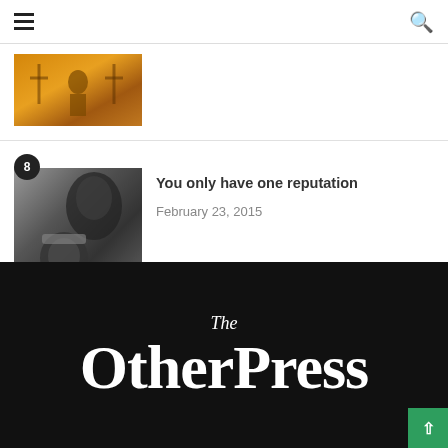≡  [hamburger menu]  [search icon]
[Figure (photo): Partial article thumbnail showing a golden/warm-toned image with a figure and crosses or spires in the background]
[Figure (photo): Black and white image of a person's face photoshopped with an alien creature from a sci-fi movie]
You only have one reputation
February 23, 2015
The OtherPress